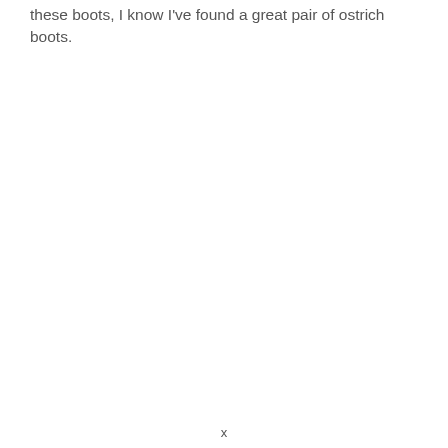these boots, I know I've found a great pair of ostrich boots.
x